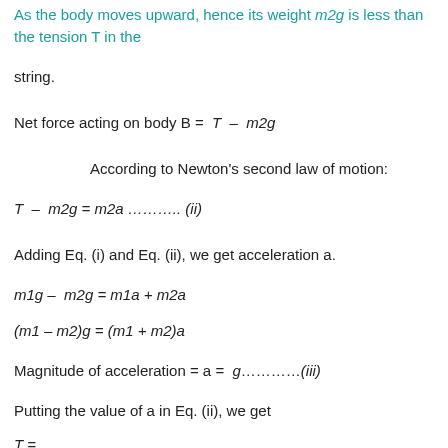As the body moves upward, hence its weight m2g is less than the tension T in the string.
Net force acting on body B = T − m2g
According to Newton's second law of motion:
Adding Eq. (i) and Eq. (ii), we get acceleration a.
Magnitude of acceleration = a = g…………(iii)
Putting the value of a in Eq. (ii), we get